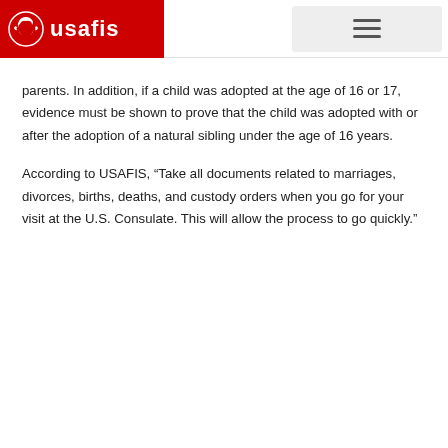usafis [logo header with navigation menu]
parents. In addition, if a child was adopted at the age of 16 or 17, evidence must be shown to prove that the child was adopted with or after the adoption of a natural sibling under the age of 16 years.
According to USAFIS, “Take all documents related to marriages, divorces, births, deaths, and custody orders when you go for your visit at the U.S. Consulate. This will allow the process to go quickly.”